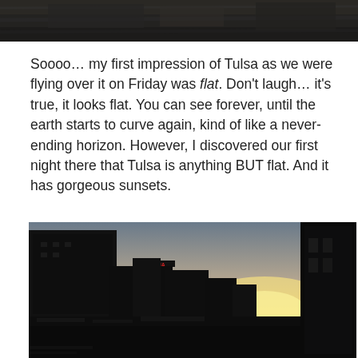[Figure (photo): Aerial or landscape photo at top of page, dark tones]
Soooo… my first impression of Tulsa as we were flying over it on Friday was flat.  Don't laugh… it's true, it looks flat. You can see forever, until the earth starts to curve again, kind of like a never-ending horizon.  However, I discovered our first night there that Tulsa is anything BUT flat. And it has gorgeous sunsets.
[Figure (photo): Sunset photo over Tulsa skyline at night, showing city buildings silhouetted against orange and yellow sunset sky]